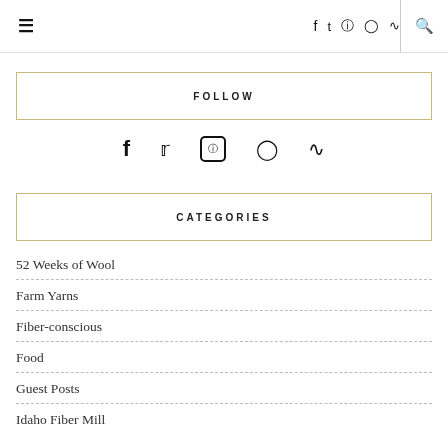≡  f  t  instagram  pinterest  rss  search
FOLLOW
[Figure (infographic): Row of social media icons: Facebook, Twitter, Instagram, Pinterest, RSS]
CATEGORIES
52 Weeks of Wool
Farm Yarns
Fiber-conscious
Food
Guest Posts
Idaho Fiber Mill